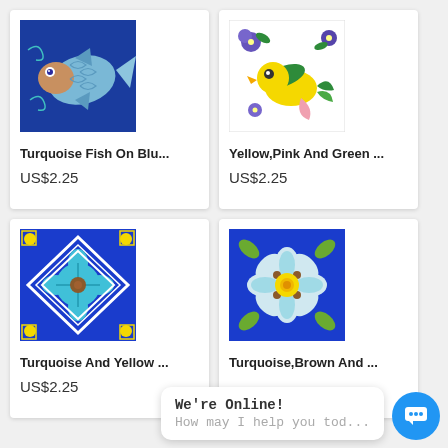[Figure (illustration): Ceramic tile with turquoise fish on blue background]
Turquoise Fish On Blu...
US$2.25
[Figure (illustration): Ceramic tile with yellow, pink and green bird on white background]
Yellow,Pink And Green ...
US$2.25
[Figure (illustration): Ceramic tile with turquoise and yellow floral pattern on blue background]
Turquoise And Yellow ...
US$2.25
[Figure (illustration): Ceramic tile with turquoise, brown and white flower on blue background]
Turquoise,Brown And ...
We're Online!
How may I help you tod...